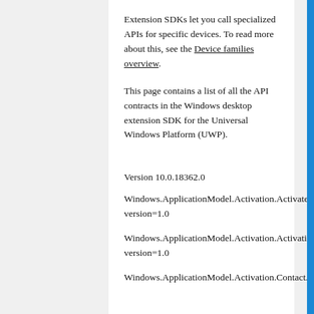Extension SDKs let you call specialized APIs for specific devices. To read more about this, see the Device families overview.
This page contains a list of all the API contracts in the Windows desktop extension SDK for the Universal Windows Platform (UWP).
Version 10.0.18362.0
Windows.ApplicationModel.Activation.ActivatedEventsContract, version=1.0
Windows.ApplicationModel.Activation.ActivationCameraSettingsContract, version=1.0
Windows.ApplicationModel.Activation.ContactActivatedEventsContract,